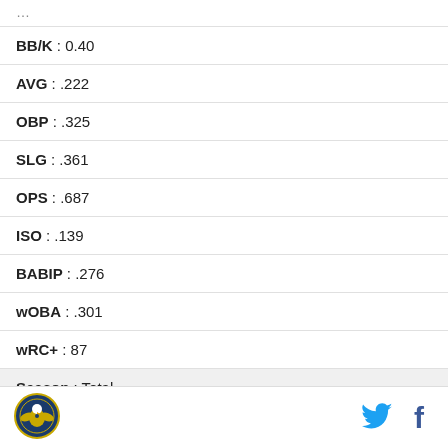| Stat | Value |
| --- | --- |
| BB/K | 0.40 |
| AVG | .222 |
| OBP | .325 |
| SLG | .361 |
| OPS | .687 |
| ISO | .139 |
| BABIP | .276 |
| wOBA | .301 |
| wRC+ | 87 |
| Season | Total |
| Name | Edgar Renteria |
[Figure (logo): Organization circular logo with eagle emblem]
[Figure (logo): Twitter bird icon in cyan blue]
[Figure (logo): Facebook f icon in dark blue]